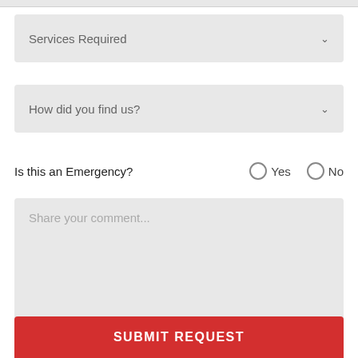Services Required
How did you find us?
Is this an Emergency?  Yes  No
Share your comment...
SUBMIT REQUEST